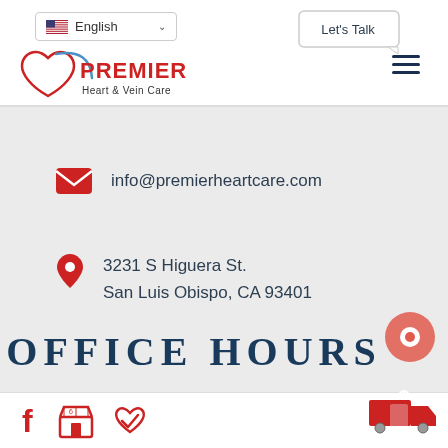[Figure (screenshot): Navigation bar with US flag English language selector dropdown, 'Let's Talk' chat button, Premier Heart & Vein Care logo, and hamburger menu icon]
info@premierheartcare.com
3231 S Higuera St.
San Luis Obispo, CA 93401
OFFICE HOURS
[Figure (illustration): Footer bar with Facebook icon, store icon, heart/checkmark icon on left; scroll-to-top truck/mobile icon on right]